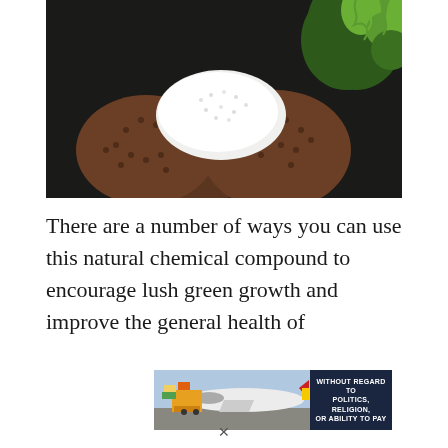[Figure (photo): Close-up photo of gloved hands (brown dotted work gloves) holding white granules or powder, with green conifer foliage visible in the upper right corner against a dark background]
There are a number of ways you can use this natural chemical compound to encourage lush green growth and improve the general health of
[Figure (photo): Advertisement banner showing an airplane being loaded with cargo packages on the tarmac, with a dark blue box on the right containing the text 'WITHOUT REGARD TO POLITICS, RELIGION, OR ABILITY TO PAY']